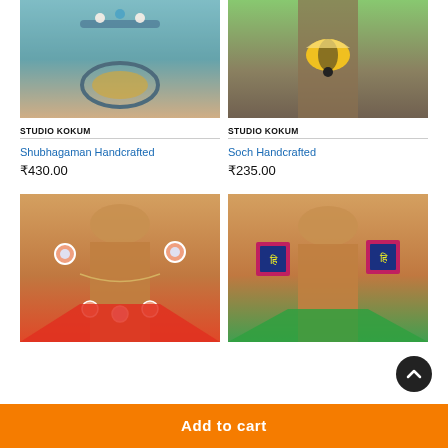[Figure (photo): Close-up of a handcrafted necklace with blue embroidery and circular pendant on skin]
[Figure (photo): Handcrafted bee-shaped earring in yellow and black on a tree trunk background]
STUDIO KOKUM
STUDIO KOKUM
Shubhagaman Handcrafted
Soch Handcrafted
₹430.00
₹235.00
[Figure (photo): Gold mannequin wearing a delicate necklace with circular gems and red outfit]
[Figure (photo): Gold mannequin wearing square embroidered earrings with pink border and green outfit]
Add to cart